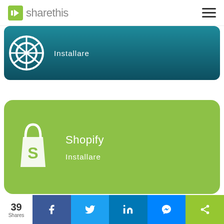[Figure (logo): ShareThis logo with green icon and gray text in top navigation bar]
[Figure (screenshot): Partially visible WordPress install card with dark teal gradient background, WordPress circular logo and 'Installare' text]
[Figure (screenshot): Shopify install card with green background, Shopify bag logo, title 'Shopify' and 'Installare' text]
[Figure (infographic): Share bar at bottom with 39 Shares count and social media buttons: Facebook, Twitter, LinkedIn, Messenger, ShareThis]